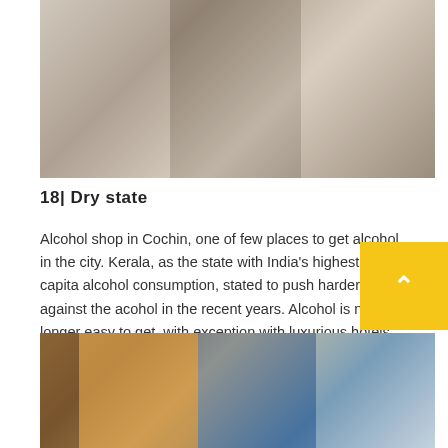[Figure (photo): People handling cardboard boxes at an alcohol shop in Cochin, India]
18| Dry state
Alcohol shop in Cochin, one of few places to get alcohol in the city. Kerala, as the state with India's highest per capita alcohol consumption, stated to push harder against the acohol in the recent years. Alcohol is no longer easy to get, with exception with luxurious hotels (even not all of them can have license) and a few shops.
[Figure (photo): An elderly man standing in front of a weathered wall with orange paint peeling, in what appears to be an Indian street scene]